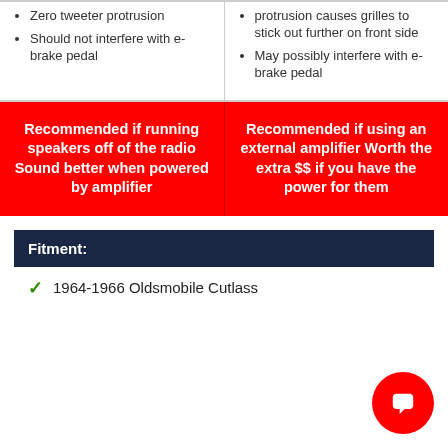Zero tweeter protrusion • Should not interfere with e-brake pedal
protrusion causes grilles to stick out further on front side • May possibly interfere with e-brake pedal
Recommended if running speakers off of the radio Sound better when powered by amplifier
Recommended if using an external amplifier Worth the extra $$ if you have the power for them
Fitment:
1964-1966 Oldsmobile Cutlass